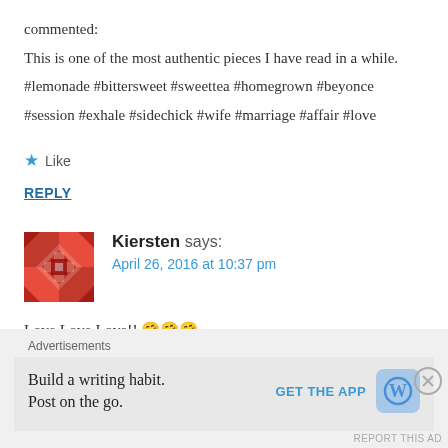commented:
This is one of the most authentic pieces I have read in a while.
#lemonade #bittersweet #sweettea #homegrown #beyonce #session #exhale #sidechick #wife #marriage #affair #love
Like
REPLY
Kiersten says:
April 26, 2016 at 10:37 pm
Love Love Love!! 🤗🤗🤗
Very well written as usual.
Advertisements
Build a writing habit. Post on the go.
GET THE APP